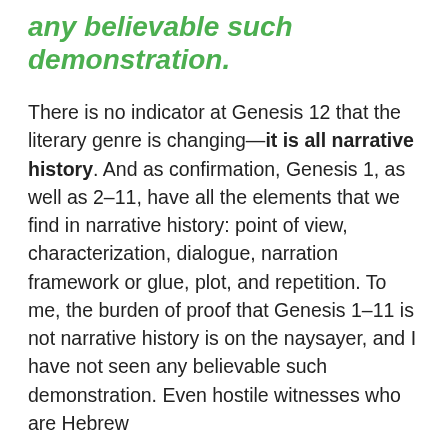any believable such demonstration.
There is no indicator at Genesis 12 that the literary genre is changing—it is all narrative history. And as confirmation, Genesis 1, as well as 2–11, have all the elements that we find in narrative history: point of view, characterization, dialogue, narration framework or glue, plot, and repetition. To me, the burden of proof that Genesis 1–11 is not narrative history is on the naysayer, and I have not seen any believable such demonstration. Even hostile witnesses who are Hebrew